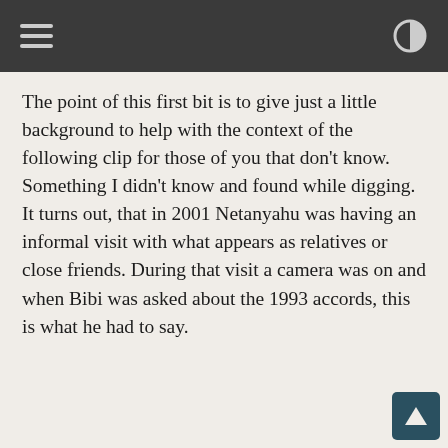[hamburger menu icon] [contrast icon]
The point of this first bit is to give just a little background to help with the context of the following clip for those of you that don't know. Something I didn't know and found while digging. It turns out, that in 2001 Netanyahu was having an informal visit with what appears as relatives or close friends. During that visit a camera was on and when Bibi was asked about the 1993 accords, this is what he had to say.
In a 2001 video, Netanyahu, reportedly unaware he was being recorded, said: "They asked me before the election if I'd honor [the Oslo accords]... I said I would, but [that] I'm going to interpret the accords in such a way that would allow me to put an end to this galloping forward to the '67 borders. How did we do it? Nobody said what defined military zones were. Defined military zones are security zones; as far as I'm concerned, the entire Jordan Valley is a defined military zone. Go argue."[9][10] Netanyahu then explained how he conditioned his signing of the 1997 Hebron agreement on American consent that there be no withdrawals from "specified military locations", and